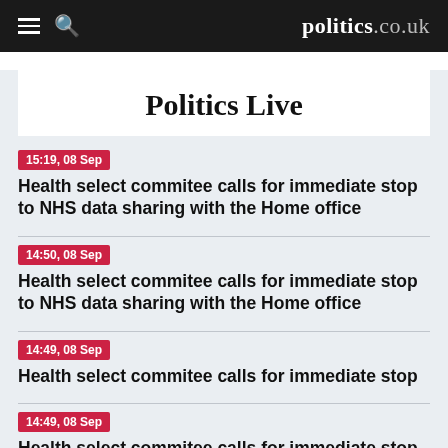politics.co.uk
Politics Live
15:19, 08 Sep — Health select commitee calls for immediate stop to NHS data sharing with the Home office
14:50, 08 Sep — Health select commitee calls for immediate stop to NHS data sharing with the Home office
14:49, 08 Sep — Health select commitee calls for immediate stop
14:49, 08 Sep — Health select commitee calls for immediate stop to NHS data sharing with the Home office